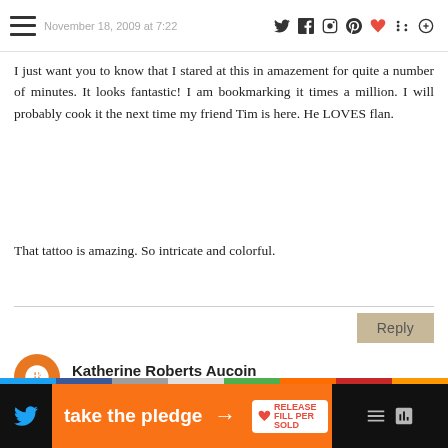November 18, 2009 at 7:22
I just want you to know that I stared at this in amazement for quite a number of minutes. It looks fantastic! I am bookmarking it times a million. I will probably cook it the next time my friend Tim is here. He LOVES flan.
That tattoo is amazing. So intricate and colorful.
Reply
Katherine Roberts Aucoin
November 18, 2009 at 9:59 AM
You flan looks over the top! Chocolate just brings it to another level.
[Figure (infographic): Advertisement banner: orange background with 'take the pledge' text and arrow, alongside logos for RELEASE and other brands, flanked by dark side panels with social media icons]